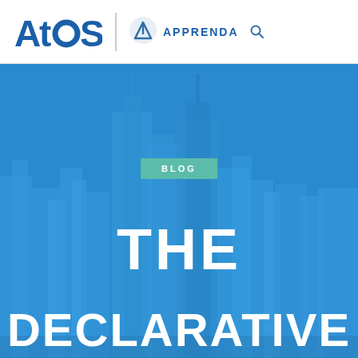[Figure (logo): Atos | Apprenda logo header with search icon on white background]
[Figure (photo): Blue-tinted city skyline hero image with blog tag, THE and DECLARATIVE text overlay]